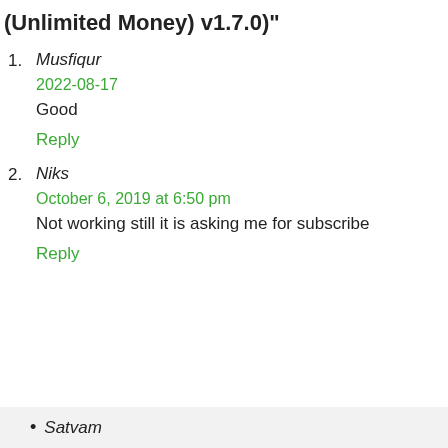(Unlimited Money) v1.7.0)"
1. Musfiqur
2022-08-17
Good
Reply
2. Niks
October 6, 2019 at 6:50 pm
Not working still it is asking me for subscribe
Reply
• Satvam